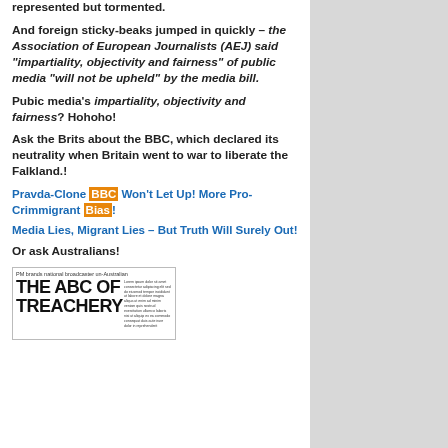represented but tormented.
And foreign sticky-beaks jumped in quickly – the Association of European Journalists (AEJ) said "impartiality, objectivity and fairness" of public media "will not be upheld" by the media bill.
Pubic media's impartiality, objectivity and fairness? Hohoho!
Ask the Brits about the BBC, which declared its neutrality when Britain went to war to liberate the Falkland.!
Pravda-Clone BBC Won't Let Up! More Pro-Crimmigrant Bias!
Media Lies, Migrant Lies – But Truth Will Surely Out!
Or ask Australians!
[Figure (photo): Newspaper front page headline 'THE ABC OF TREACHERY' with subheading 'PM brands national broadcaster un-Australian']